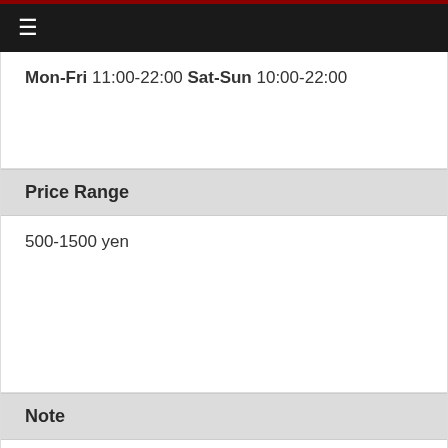≡
Mon-Fri 11:00-22:00 Sat-Sun 10:00-22:00
Price Range
500-1500 yen
Note